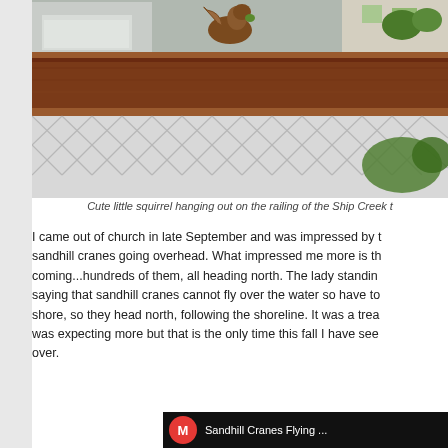[Figure (photo): Photo of a squirrel sitting on a wooden railing with chain-link fence below, car and building in background]
Cute little squirrel hanging out on the railing of the Ship Creek t
I came out of church in late September and was impressed by sandhill cranes going overhead. What impressed me more is the coming...hundreds of them, all heading north. The lady standing saying that sandhill cranes cannot fly over the water so have to shore, so they head north, following the shoreline. It was a trea was expecting more but that is the only time this fall I have see over.
[Figure (screenshot): Video thumbnail showing 'Sandhill Cranes Flying' with a red M icon on black background]